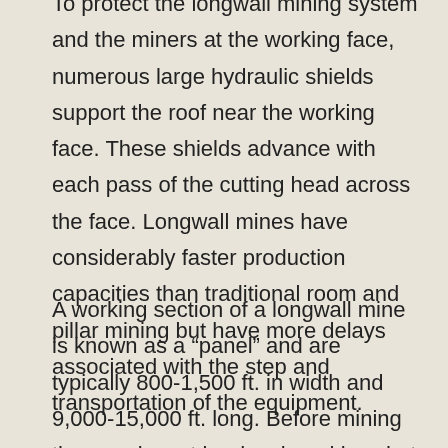To protect the longwall mining system and the miners at the working face, numerous large hydraulic shields support the roof near the working face. These shields advance with each pass of the cutting head across the face. Longwall mines have considerably faster production capacities than traditional room and pillar mining but have more delays associated with the step and transportation of the equipment.
A working section of a longwall mine is known as a “panel” and are typically 800-1,500 ft. in width and 9,000-15,000 ft. long. Before mining the panel must be developed by what are called the